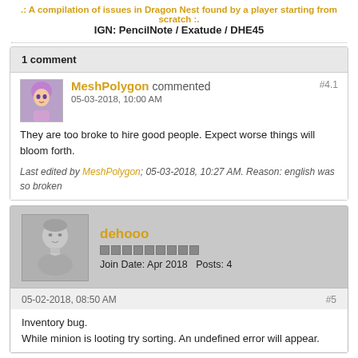.: A compilation of issues in Dragon Nest found by a player starting from scratch :.
IGN: PencilNote / Exatude / DHE45
1 comment
MeshPolygon commented #4.1
05-03-2018, 10:00 AM
They are too broke to hire good people. Expect worse things will bloom forth.
Last edited by MeshPolygon; 05-03-2018, 10:27 AM. Reason: english was so broken
dehooo
Join Date: Apr 2018  Posts: 4
05-02-2018, 08:50 AM  #5
Inventory bug.
While minion is looting try sorting. An undefined error will appear.